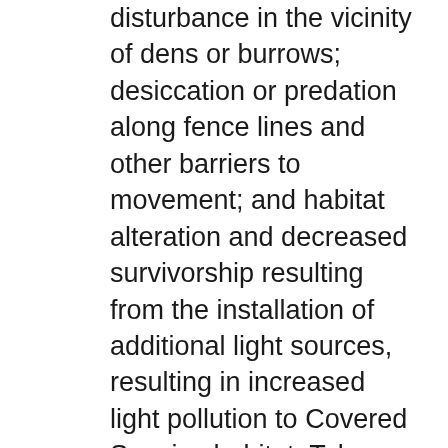disturbance in the vicinity of dens or burrows; desiccation or predation along fence lines and other barriers to movement; and habitat alteration and decreased survivorship resulting from the installation of additional light sources, resulting in increased light pollution to Covered Species habitat. Take may also occur in the form of pursue, catch, capture, or attempt to do so from capture and relocation attempts. Relocation could result in mortality, injury, and/or disease transmission to Covered Species,